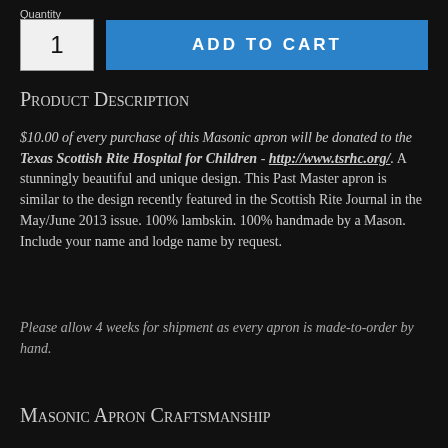Quantity
1  ADD TO CART
Product Description
$10.00 of every purchase of this Masonic apron will be donated to the Texas Scottish Rite Hospital for Children - http://www.tsrhc.org/. A stunningly beautiful and unique design. This Past Master apron is similar to the design recently featured in the Scottish Rite Journal in the May/June 2013 issue. 100% lambskin. 100% handmade by a Mason. Include your name and lodge name by request.
Please allow 4 weeks for shipment as every apron is made-to-order by hand.
Masonic Apron Craftsmanship